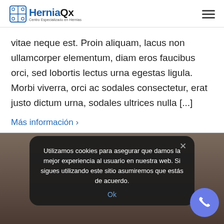HerniaQx — Centro Especializado en Hernias
vitae neque est. Proin aliquam, lacus non ullamcorper elementum, diam eros faucibus orci, sed lobortis lectus urna egestas ligula. Morbi viverra, orci ac sodales consectetur, erat justo dictum urna, sodales ultrices nulla [...]
Más información ›
Utilizamos cookies para asegurar que damos la mejor experiencia al usuario en nuestra web. Si sigues utilizando este sitio asumiremos que estás de acuerdo.
Ok
[Figure (photo): Bottom portion of a webpage showing a dark cookie consent banner over a background image, with a blue phone call button in the bottom right corner.]